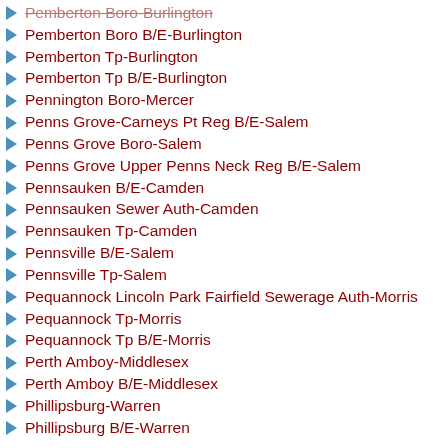Pemberton Boro-Burlington
Pemberton Boro B/E-Burlington
Pemberton Tp-Burlington
Pemberton Tp B/E-Burlington
Pennington Boro-Mercer
Penns Grove-Carneys Pt Reg B/E-Salem
Penns Grove Boro-Salem
Penns Grove Upper Penns Neck Reg B/E-Salem
Pennsauken B/E-Camden
Pennsauken Sewer Auth-Camden
Pennsauken Tp-Camden
Pennsville B/E-Salem
Pennsville Tp-Salem
Pequannock Lincoln Park Fairfield Sewerage Auth-Morris
Pequannock Tp-Morris
Pequannock Tp B/E-Morris
Perth Amboy-Middlesex
Perth Amboy B/E-Middlesex
Phillipsburg-Warren
Phillipsburg B/E-Warren